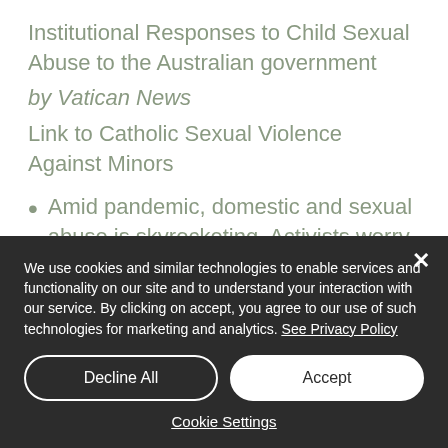Institutional Responses to Child Sexual Abuse to the Australian government by Vatican News Link to Catholic Sexual Violence Against Minors
Amid pandemic, domestic and sexual abuse is skyrocketing. Activists worry that news is
We use cookies and similar technologies to enable services and functionality on our site and to understand your interaction with our service. By clicking on accept, you agree to our use of such technologies for marketing and analytics. See Privacy Policy
Decline All
Accept
Cookie Settings